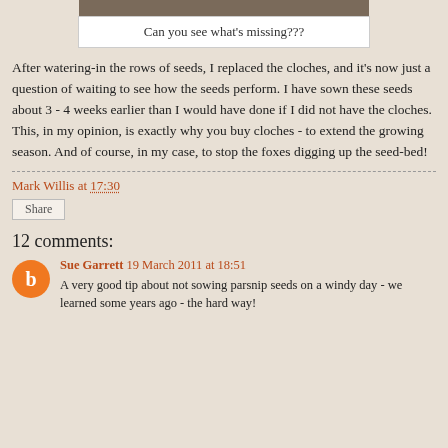[Figure (photo): Photo at top of page partially visible, showing a garden scene]
Can you see what's missing???
After watering-in the rows of seeds, I replaced the cloches, and it's now just a question of waiting to see how the seeds perform. I have sown these seeds about 3 - 4 weeks earlier than I would have done if I did not have the cloches. This, in my opinion, is exactly why you buy cloches - to extend the growing season. And of course, in my case, to stop the foxes digging up the seed-bed!
Mark Willis at 17:30
Share
12 comments:
Sue Garrett 19 March 2011 at 18:51
A very good tip about not sowing parsnip seeds on a windy day - we learned some years ago - the hard way!